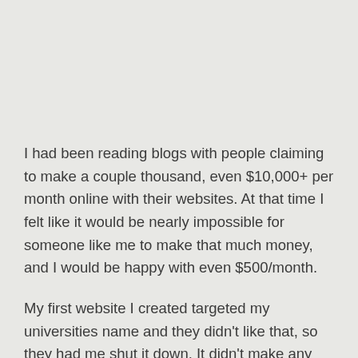I had been reading blogs with people claiming to make a couple thousand, even $10,000+ per month online with their websites. At that time I felt like it would be nearly impossible for someone like me to make that much money, and I would be happy with even $500/month.
My first website I created targeted my universities name and they didn't like that, so they had me shut it down. It didn't make any money outside of the few friends I referred so that wasn't a big deal. I continued to work hard on my second website and ended up making a couple